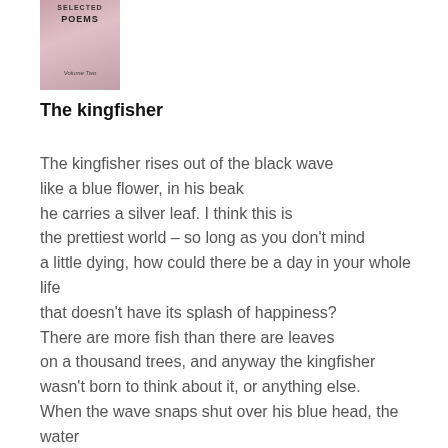[Figure (illustration): Book cover of Selected Poems Volume Two, pink/mauve tones with decorative imagery]
The kingfisher
The kingfisher rises out of the black wave
like a blue flower, in his beak
he carries a silver leaf. I think this is
the prettiest world – so long as you don't mind
a little dying, how could there be a day in your whole life
that doesn't have its splash of happiness?
There are more fish than there are leaves
on a thousand trees, and anyway the kingfisher
wasn't born to think about it, or anything else.
When the wave snaps shut over his blue head, the water
remains water – hunger is the only story